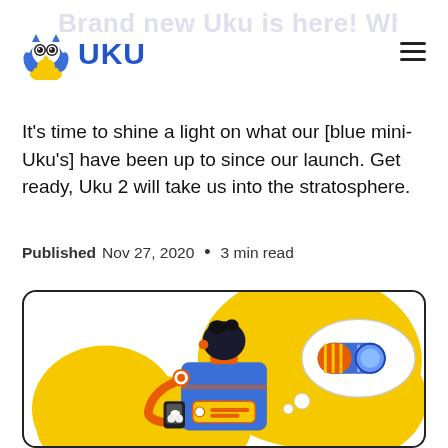Brand new Uku is here! What's new
UKU
It's time to shine a light on what our [blue mini-Uku's] have been up to since our launch. Get ready, Uku 2 will take us into the stratosphere.
Published  Nov 27, 2020  •  3 min read
[Figure (illustration): Cartoon robot holding a phone with a thought bubble showing a toggle switch icon, on a yellow blob background]